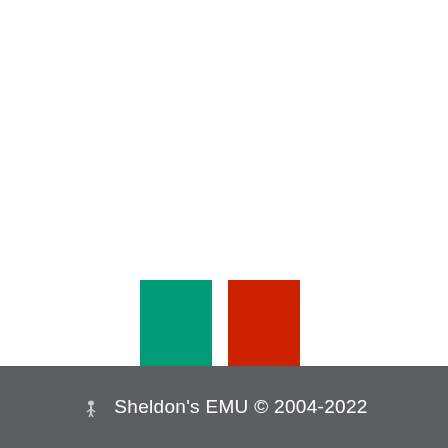[Figure (illustration): Italian flag represented as two vertical rectangles: green on the left and red on the right, with white gap in between, above the text 'Italian Marques']
Italian Marques
🦢 Sheldon's EMU © 2004-2022